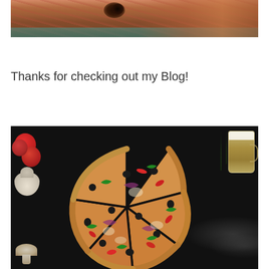[Figure (photo): Close-up of cooked meat/pizza with dark char spots and teal-colored garnish or background element visible at bottom]
Thanks for checking out my Blog!
[Figure (photo): Overhead view of a pizza cut into 6 slices on a dark background, with tomatoes, garlic bulb, mushroom, rosemary sprigs, and a glass of beer arranged around it. Pizza toppings include black olives, red onion, green peppers, tomatoes, and herbs.]